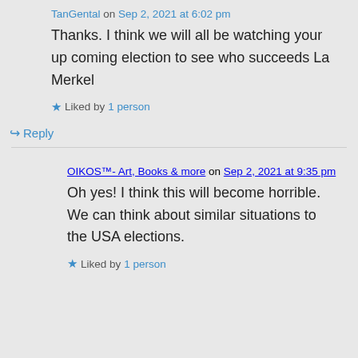TanGental on Sep 2, 2021 at 6:02 pm
Thanks. I think we will all be watching your up coming election to see who succeeds La Merkel
Liked by 1 person
Reply
OIKOS™- Art, Books & more on Sep 2, 2021 at 9:35 pm
Oh yes! I think this will become horrible. We can think about similar situations to the USA elections.
Liked by 1 person